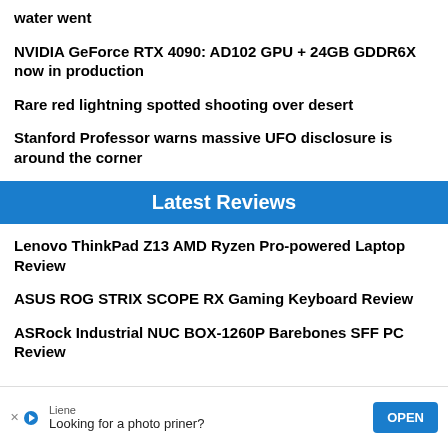water went
NVIDIA GeForce RTX 4090: AD102 GPU + 24GB GDDR6X now in production
Rare red lightning spotted shooting over desert
Stanford Professor warns massive UFO disclosure is around the corner
Latest Reviews
Lenovo ThinkPad Z13 AMD Ryzen Pro-powered Laptop Review
ASUS ROG STRIX SCOPE RX Gaming Keyboard Review
ASRock Industrial NUC BOX-1260P Barebones SFF PC Review
[Figure (other): Advertisement banner: Liene brand, text 'Looking for a photo priner?', OPEN button]